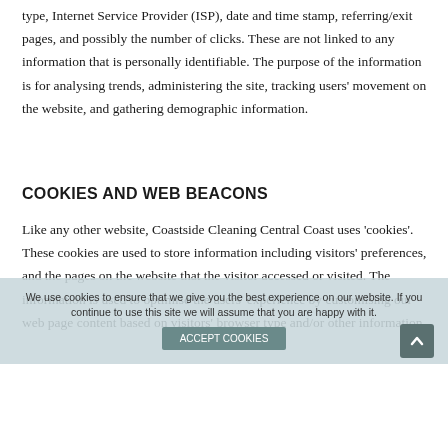type, Internet Service Provider (ISP), date and time stamp, referring/exit pages, and possibly the number of clicks. These are not linked to any information that is personally identifiable. The purpose of the information is for analysing trends, administering the site, tracking users' movement on the website, and gathering demographic information.
COOKIES AND WEB BEACONS
Like any other website, Coastside Cleaning Central Coast uses 'cookies'. These cookies are used to store information including visitors' preferences, and the pages on the website that the visitor accessed or visited. The information is used to optimise the users' experience by customising our web page content based on visitors' browser type and/or other information.